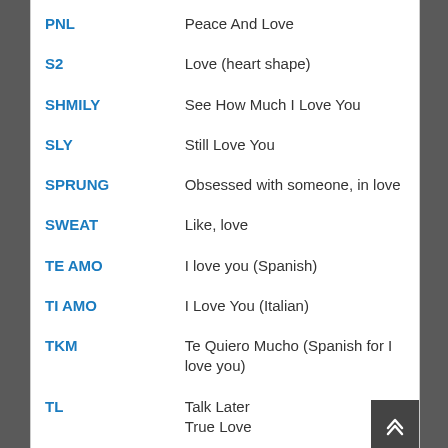| Abbreviation | Meaning |
| --- | --- |
| PNL | Peace And Love |
| S2 | Love (heart shape) |
| SHMILY | See How Much I Love You |
| SLY | Still Love You |
| SPRUNG | Obsessed with someone, in love |
| SWEAT | Like, love |
| TE AMO | I love you (Spanish) |
| TI AMO | I Love You (Italian) |
| TKM | Te Quiero Mucho (Spanish for I love you) |
| TL | Talk Later
True Love |